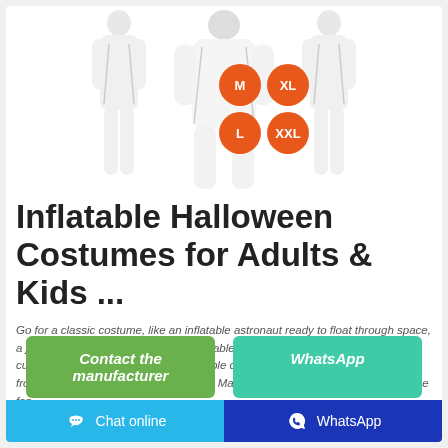[Figure (photo): Product photo of inflatable Halloween costumes (white suits) for adults and kids, with size option badges showing M, XL, L, XXL in orange circles]
Inflatable Halloween Costumes for Adults & Kids ...
Go for a classic costume, like an inflatable astronaut ready to float through space, a jetpack, or the totally humorous inflatable sumo wrestler. Or opt for a pop culture outfit, such as a Minions inflatable costume, an inflatable BB8 costume from Star Wars The Force Awakens, or Mario Riding Yoshi if you're a video game fan.
Contact the manufacturer
WhatsApp
Chat online | WhatsApp